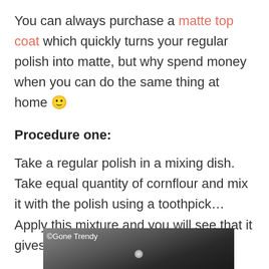You can always purchase a matte top coat which quickly turns your regular polish into matte, but why spend money when you can do the same thing at home 🙂
Procedure one:
Take a regular polish in a mixing dish. Take equal quantity of cornflour and mix it with the polish using a toothpick…Apply this mixture and you will see that it gives a matte finish!!
[Figure (photo): A close-up photo of what appears to be a mixing dish or bowl with a light-colored mixture, dark background. Watermark reads ©Gone Trendy.]